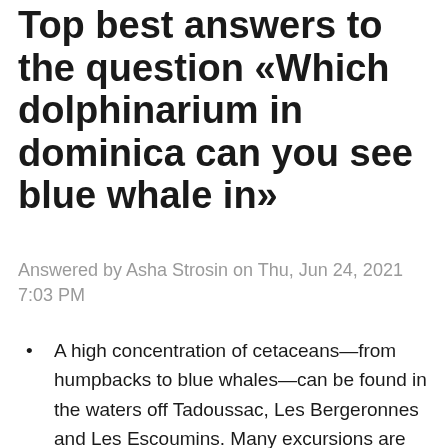Top best answers to the question «Which dolphinarium in dominica can you see blue whale in»
Answered by Asha Strosin on Thu, Jun 24, 2021 7:03 PM
A high concentration of cetaceans—from humpbacks to blue whales—can be found in the waters off Tadoussac, Les Bergeronnes and Les Escoumins. Many excursions are available in this area, and you can see the